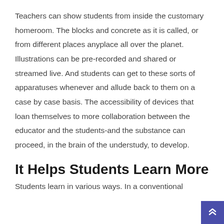Teachers can show students from inside the customary homeroom. The blocks and concrete as it is called, or from different places anyplace all over the planet. Illustrations can be pre-recorded and shared or streamed live. And students can get to these sorts of apparatuses whenever and allude back to them on a case by case basis. The accessibility of devices that loan themselves to more collaboration between the educator and the students-and the substance can proceed, in the brain of the understudy, to develop.
It Helps Students Learn More
Students learn in various ways. In a conventional